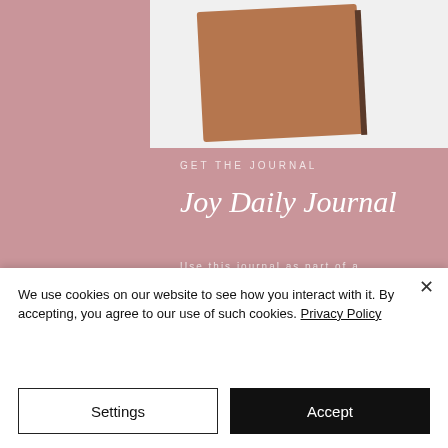[Figure (photo): Product photo area showing a brown leather journal cover on a light background, partially visible at top of page]
GET THE JOURNAL
Joy Daily Journal
Use this journal as part of a daily self care routine to cultivate more joy in your
We use cookies on our website to see how you interact with it. By accepting, you agree to our use of such cookies. Privacy Policy
Settings
Accept